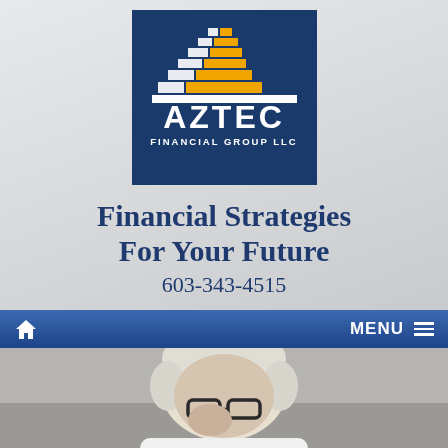[Figure (logo): Aztec Financial Group LLC logo — dark blue square with a stepped pyramid graphic in white and gold/yellow, with text AZTEC in large white letters and FINANCIAL GROUP LLC below]
Financial Strategies For Your Future
603-343-4515
🏠  MENU ≡
[Figure (photo): Close-up photo of a person with short white/blonde hair wearing glasses, appearing to be looking down or rubbing their eye]